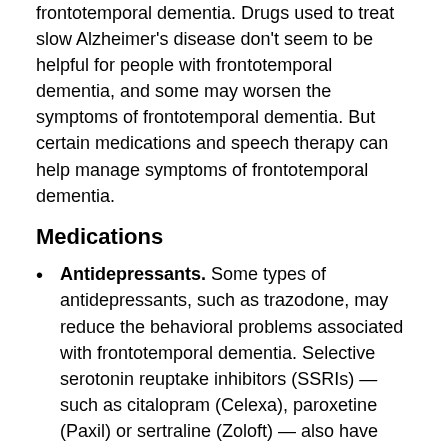frontotemporal dementia. Drugs used to treat slow Alzheimer's disease don't seem to be helpful for people with frontotemporal dementia, and some may worsen the symptoms of frontotemporal dementia. But certain medications and speech therapy can help manage symptoms of frontotemporal dementia.
Medications
Antidepressants. Some types of antidepressants, such as trazodone, may reduce the behavioral problems associated with frontotemporal dementia. Selective serotonin reuptake inhibitors (SSRIs) — such as citalopram (Celexa), paroxetine (Paxil) or sertraline (Zoloft) — also have been effective in some people.
Antipsychotics. Antipsychotic medications, such as olanzapine (Zyprexa) or quetiapine (Seroquel), are sometimes used to treat the behavioral problems of frontotemporal dementia. However, these medications must be used with caution in people with dementia due to their risk of serious side effects, including...